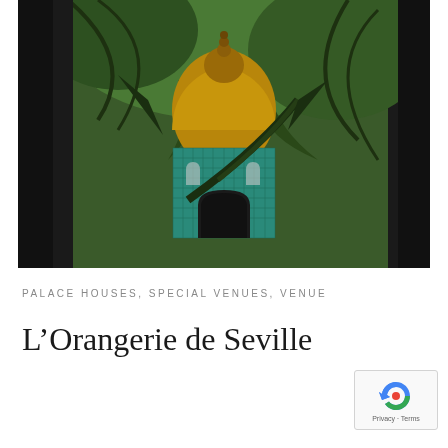[Figure (photo): A Moorish-style pavilion or small tower with a golden dome and turquoise tiled walls decorated with geometric patterns, surrounded by lush tropical palm trees and green foliage. The architecture features horseshoe arches and intricate tilework.]
PALACE HOUSES, SPECIAL VENUES, VENUE
L'Orangerie de Seville